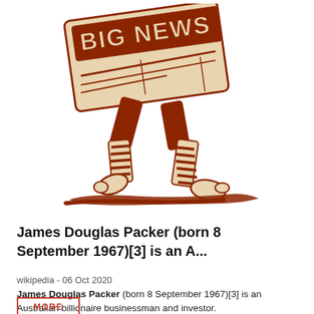[Figure (illustration): Retro illustration of a newspaper boy running, carrying a large newspaper with 'BIG NEWS' printed on it. The figure has striped legs and is casting a shadow. Drawn in dark brown/rust color on white background.]
James Douglas Packer (born 8 September 1967)[3] is an A...
wikipedia - 06 Oct 2020
James Douglas Packer (born 8 September 1967)[3] is an Australian billionaire businessman and investor.
MORE